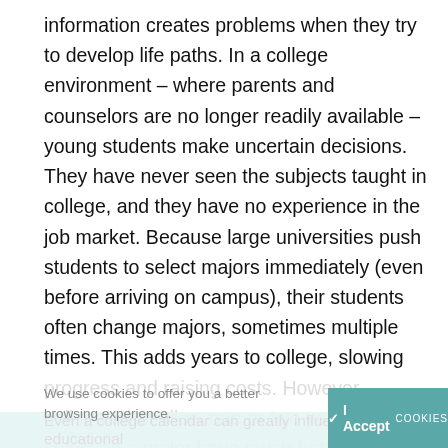information creates problems when they try to develop life paths. In a college environment – where parents and counselors are no longer readily available – young students make uncertain decisions. They have never seen the subjects taught in college, and they have no experience in the job market. Because large universities push students to select majors immediately (even before arriving on campus), their students often change majors, sometimes multiple times. This adds years to college, slowing progress and raising costs. However, colleges that allow one or two years before selecting a major have much better on-time graduation rates. Also notice how each of these colleges use different styles of curricula for training their freshmen and sophomores, from guided exploration to heavy requirements to no requirements at all.
Even a college calendar can greatly influence the educational